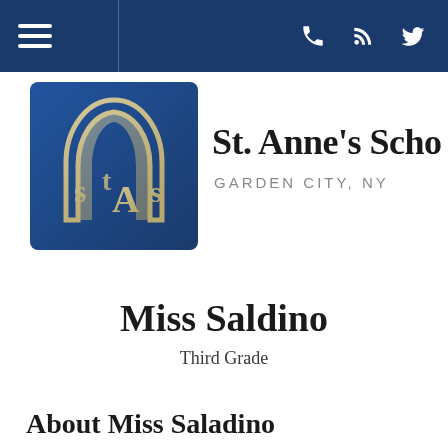Navigation bar with hamburger menu and icons (phone, RSS, Twitter)
[Figure (logo): St. Anne's School logo — blue square with gothic arch and stylized 'SAS' letters in gold/cream]
St. Anne's Scho
GARDEN CITY, NY
Miss Saldino
Third Grade
About Miss Saladino